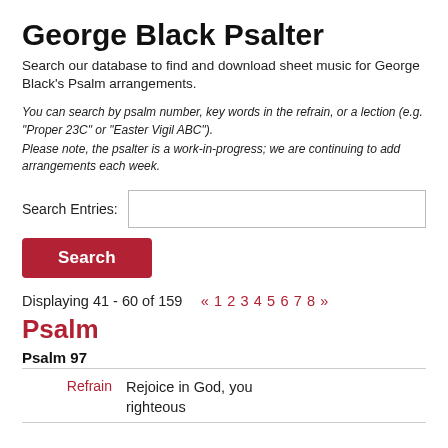George Black Psalter
Search our database to find and download sheet music for George Black's Psalm arrangements.
You can search by psalm number, key words in the refrain, or a lection (e.g. "Proper 23C" or "Easter Vigil ABC"). Please note, the psalter is a work-in-progress; we are continuing to add arrangements each week.
Search Entries: [input field] Search [button]
Displaying 41 - 60 of 159   « 1 2 3 4 5 6 7 8 »
Psalm
Psalm 97
Refrain   Rejoice in God, you righteous